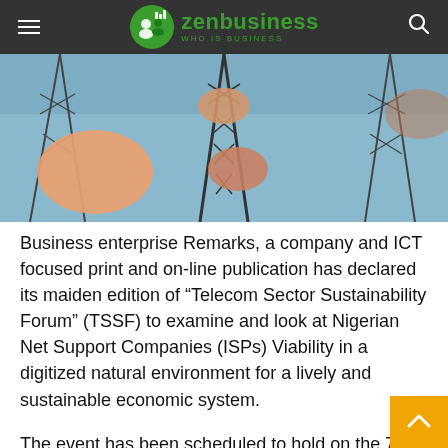zenbusiness — who is business
[Figure (photo): Telecommunications tower with satellite dishes against a blue sky, viewed from below at an angle.]
Business enterprise Remarks, a company and ICT focused print and on-line publication has declared its maiden edition of “Telecom Sector Sustainability Forum” (TSSF) to examine and look at Nigerian Net Support Companies (ISPs) Viability in a digitized natural environment for a lively and sustainable economic system.
The event has been scheduled to hold on the 7th July, 2022 at Victoria Crown Plaza Resort, Victoria Island, Lagos by 9a.m.
Telecom Sector Sustainability Forum (TSSF), is a